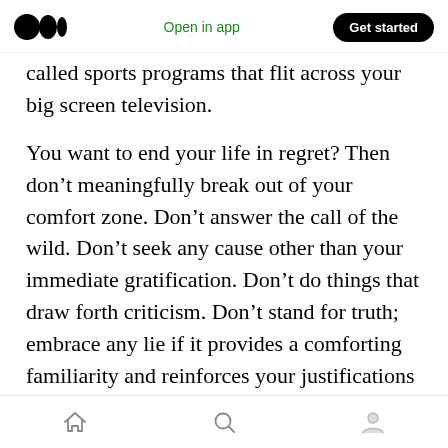Medium logo | Open in app | Get started
called sports programs that flit across your big screen television.
You want to end your life in regret? Then don’t meaningfully break out of your comfort zone. Don’t answer the call of the wild. Don’t seek any cause other than your immediate gratification. Don’t do things that draw forth criticism. Don’t stand for truth; embrace any lie if it provides a comforting familiarity and reinforces your justifications to not change. Avoid actual intimacy. Just repeat the mainstream memes of each day, and be an actor in your own life,
Home | Search | Profile